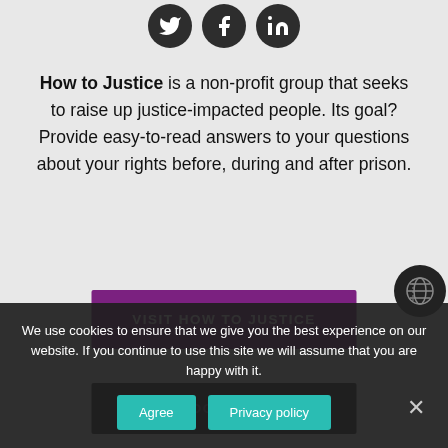[Figure (illustration): Three social media icons (Twitter, Facebook, LinkedIn) as white icons on dark circular backgrounds]
How to Justice is a non-profit group that seeks to raise up justice-impacted people. Its goal? Provide easy-to-read answers to your questions about your rights before, during and after prison.
VISIT HOW TO JUSTICE
DONATE
We use cookies to ensure that we give you the best experience on our website. If you continue to use this site we will assume that you are happy with it.
Agree
Privacy policy